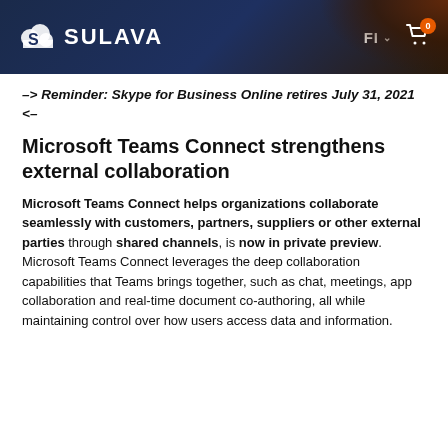SULAVA  FI  0
-> Reminder: Skype for Business Online retires July 31, 2021 <-
Microsoft Teams Connect strengthens external collaboration
Microsoft Teams Connect helps organizations collaborate seamlessly with customers, partners, suppliers or other external parties through shared channels, is now in private preview. Microsoft Teams Connect leverages the deep collaboration capabilities that Teams brings together, such as chat, meetings, app collaboration and real-time document co-authoring, all while maintaining control over how users access data and information.